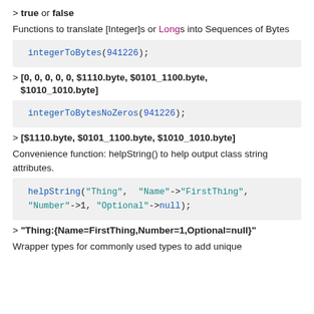> true or false
Functions to translate [Integer]s or Longs into Sequences of Bytes
integerToBytes(941226);
> [0, 0, 0, 0, 0, $1110.byte, $0101_1100.byte, $1010_1010.byte]
integerToBytesNoZeros(941226);
> [$1110.byte, $0101_1100.byte, $1010_1010.byte]
Convenience function: helpString() to help output class string attributes.
helpString("Thing",  "Name"->"FirstThing", "Number"->1, "Optional"->null);
> "Thing:{Name=FirstThing,Number=1,Optional=null}"
Wrapper types for commonly used types to add unique